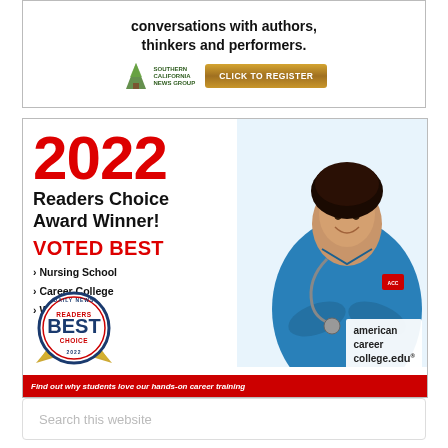[Figure (illustration): Southern California News Group advertisement with text 'conversations with authors, thinkers and performers.' with logo and 'CLICK TO REGISTER' button]
[Figure (infographic): American Career College 2022 Readers Choice Award Winner advertisement. Shows a smiling nurse in blue scrubs. Text: '2022 Readers Choice Award Winner! VOTED BEST > Nursing School > Career College > Workplace. american career college.edu. Find out why students love our hands-on career training']
Search this website